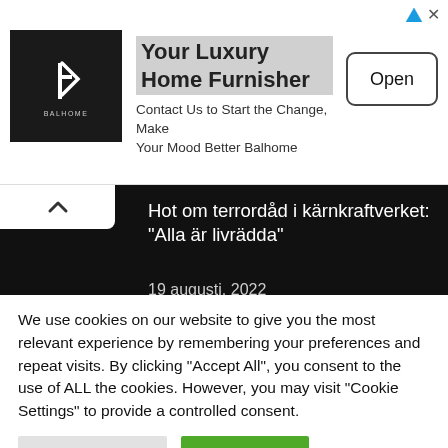[Figure (logo): Balhome luxury home furnisher advertisement banner with black logo box, brand name and Open button]
Hot om terrordåd i kärnkraftverket: "Alla är livrädda"
19 augusti, 2022
Annie Lööf tar inte Nooshi Dadgostars ministerkrav på allvar
We use cookies on our website to give you the most relevant experience by remembering your preferences and repeat visits. By clicking "Accept All", you consent to the use of ALL the cookies. However, you may visit "Cookie Settings" to provide a controlled consent.
Cookie Settings | Accept All